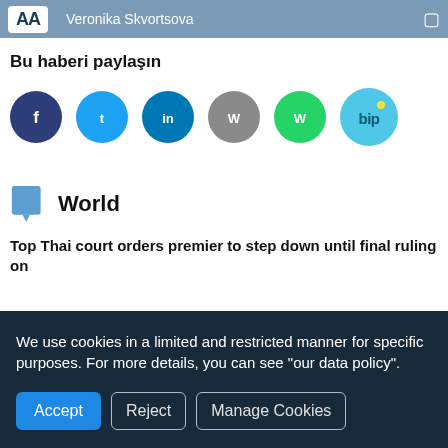AA | Veronika Skvortsova
Bu haberi paylaşın
[Figure (infographic): Social media share buttons: Facebook (dark blue), Twitter (light blue), LinkedIn (blue), WhatsApp/grey, WhatsApp (green), BiP (light blue)]
World
Top Thai court orders premier to step down until final ruling on
We use cookies in a limited and restricted manner for specific purposes. For more details, you can see "our data policy".